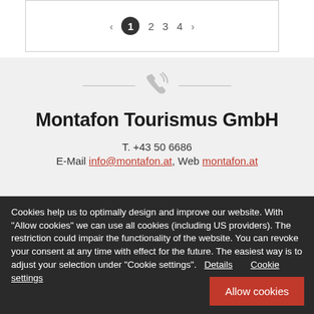[Figure (other): Pagination bar with left arrow, page numbers 1 (active/selected), 2, 3, 4, and right arrow inside a bordered box]
[Figure (other): Phone icon with decorative horizontal lines on each side, grey color]
Montafon Tourismus GmbH
T. +43 50 6686
E-Mail info@montafon.at, Web montafon.at
Cookies help us to optimally design and improve our website. With "Allow cookies" we can use all cookies (including US providers). The restriction could impair the functionality of the website. You can revoke your consent at any time with effect for the future. The easiest way is to adjust your selection under "Cookie settings". Details  Cookie settings